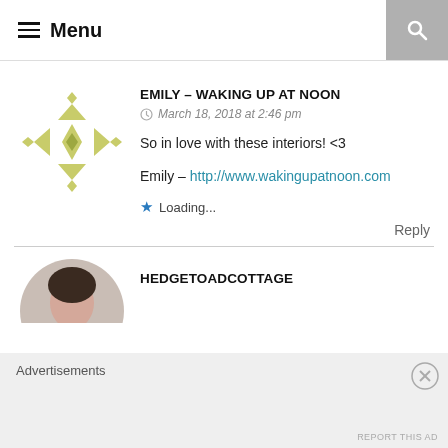Menu
[Figure (illustration): Geometric decorative avatar made of olive/yellow-green triangles and diamond shapes arranged in a snowflake/star pattern]
EMILY – WAKING UP AT NOON
March 18, 2018 at 2:46 pm
So in love with these interiors! <3
Emily – http://www.wakingupatnoon.com
Loading...
Reply
[Figure (photo): Circular avatar showing a woman with dark hair, only the top portion visible (cropped at bottom of page)]
HEDGETOADCOTTAGE
Advertisements